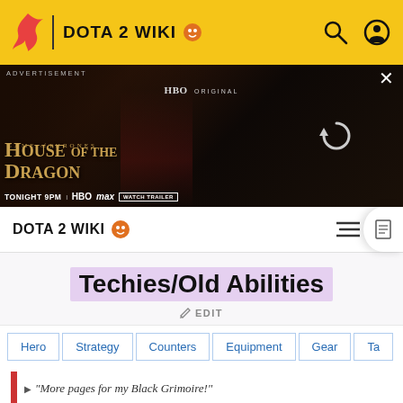DOTA 2 WIKI
[Figure (screenshot): HBO Max advertisement for House of the Dragon - 'Tonight 9PM | HBOmax | Watch Trailer']
DOTA 2 WIKI
Techies/Old Abilities
EDIT
Hero
Strategy
Counters
Equipment
Gear
Ta
"More pages for my Black Grimoire!"